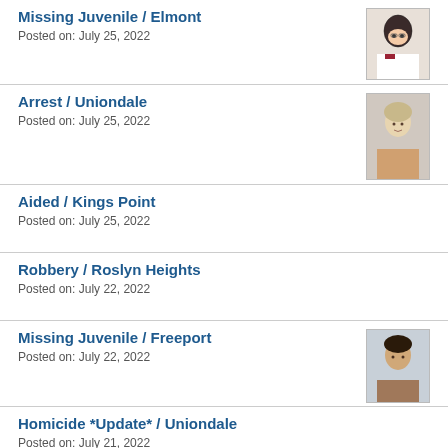Missing Juvenile / Elmont
Posted on: July 25, 2022
[Figure (photo): Photo of missing juvenile girl with dark hair and glasses]
Arrest / Uniondale
Posted on: July 25, 2022
[Figure (photo): Mugshot of young male with light hair]
Aided / Kings Point
Posted on: July 25, 2022
Robbery / Roslyn Heights
Posted on: July 22, 2022
Missing Juvenile / Freeport
Posted on: July 22, 2022
[Figure (photo): Photo of missing juvenile with dark curly hair]
Homicide *Update* / Uniondale
Posted on: July 21, 2022